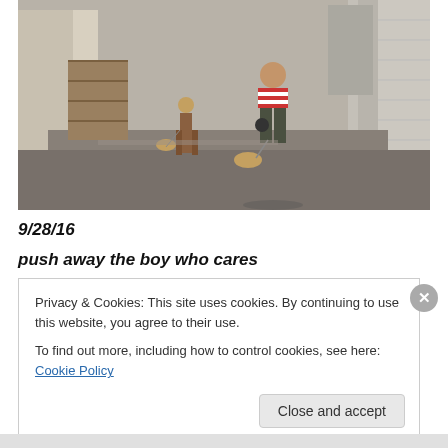[Figure (photo): Two women walking dogs in an urban alley. The closer woman wears a red and white striped shirt and dark capri pants, walking a tan dog on a leash. Another woman further ahead walks a dog in the sunlit alley between brick buildings.]
9/28/16
push away the boy who cares
Privacy & Cookies: This site uses cookies. By continuing to use this website, you agree to their use.
To find out more, including how to control cookies, see here: Cookie Policy
Close and accept